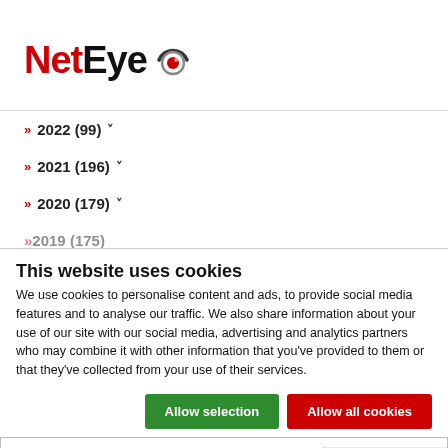[Figure (logo): NetEye logo with red 'Net' text and black 'Eye' text plus a red/black eye icon]
» 2022 (99) ˅
» 2021 (196) ˅
» 2020 (179) ˅
» 2019 (175)
This website uses cookies
We use cookies to personalise content and ads, to provide social media features and to analyse our traffic. We also share information about your use of our site with our social media, advertising and analytics partners who may combine it with other information that you've provided to them or that they've collected from your use of their services.
Allow selection | Allow all cookies
☑ Necessary  ☐ Preferences  ☐ Statistics  ☐ Marketing  Show details ˅